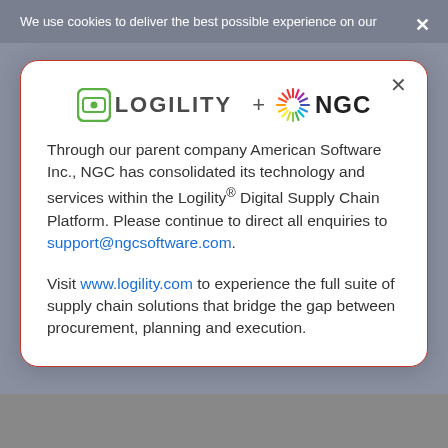We use cookies to deliver the best possible experience on our
[Figure (logo): Logility + NGC combined logo. Logility logo with green icon and bold uppercase text, plus sign, NGC starburst icon and bold NGC text.]
Through our parent company American Software Inc., NGC has consolidated its technology and services within the Logility® Digital Supply Chain Platform. Please continue to direct all enquiries to support@ngcsoftware.com.
Visit www.logility.com to experience the full suite of supply chain solutions that bridge the gap between procurement, planning and execution.